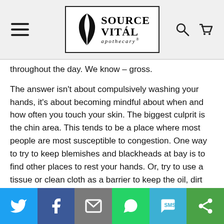[Figure (logo): Source Vital Apothecary logo with plant leaf illustration inside a rectangular border, hamburger menu icon on left, search and cart icons on right]
throughout the day. We know – gross.
The answer isn't about compulsively washing your hands, it's about becoming mindful about when and how often you touch your skin. The biggest culprit is the chin area. This tends to be a place where most people are most susceptible to congestion. One way to try to keep blemishes and blackheads at bay is to find other places to rest your hands. Or, try to use a tissue or clean cloth as a barrier to keep the oil, dirt and grime on your hands away from the face.
[Figure (infographic): Social sharing bar with Twitter, Facebook, Email, WhatsApp, SMS, and ShareThis buttons]